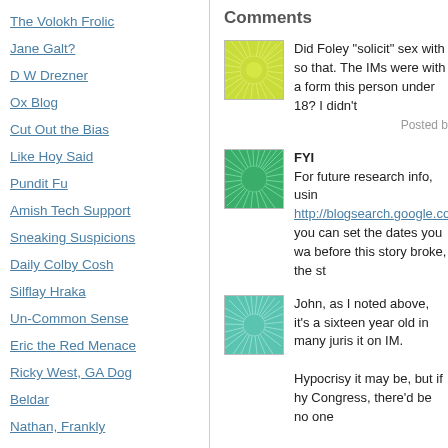The Volokh Frolic
Jane Galt?
D W Drezner
Ox Blog
Cut Out the Bias
Like Hoy Said
Pundit Fu
Amish Tech Support
Sneaking Suspicions
Daily Colby Cosh
Silflay Hraka
Un-Common Sense
Eric the Red Menace
Ricky West, GA Dog
Beldar
Nathan, Frankly
Cooperstown
A Gas, a Blog
Comments
Did Foley "solicit" sex with so that. The IMs were with a form this person under 18? I didn't
Posted b
FYI
For future research info, usin http://blogsearch.google.co you can set the dates you wa before this story broke, the st
John, as I noted above, it's a sixteen year old in many juris it on IM.

Hypocrisy it may be, but if hy Congress, there'd be no one